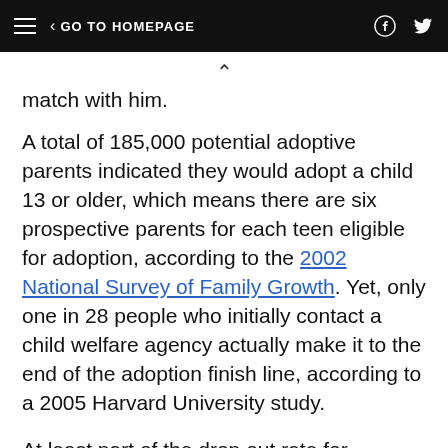≡  < GO TO HOMEPAGE   [facebook] [twitter]
match with him.
A total of 185,000 potential adoptive parents indicated they would adopt a child 13 or older, which means there are six prospective parents for each teen eligible for adoption, according to the 2002 National Survey of Family Growth. Yet, only one in 28 people who initially contact a child welfare agency actually make it to the end of the adoption finish line, according to a 2005 Harvard University study.
At least part of the drop out rate for prospective